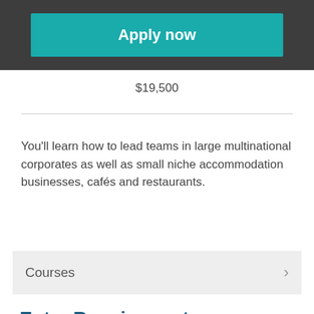Apply now
$19,500
You’ll learn how to lead teams in large multinational corporates as well as small niche accommodation businesses, cafés and restaurants.
Courses
Entry Requirements
Degree; or
Level 6 or 7 Diploma and relevant work/life experience; or